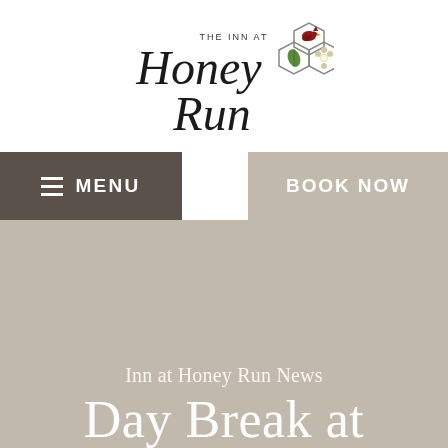[Figure (logo): The Inn at Honey Run logo — cursive 'Honey Run' script with 'THE INN AT' text above, and hexagonal honeycomb graphic with cardinal bird, leaf, and flower on the right]
≡ MENU
BOOK NOW
Inn at Honey Run News
Day Break at